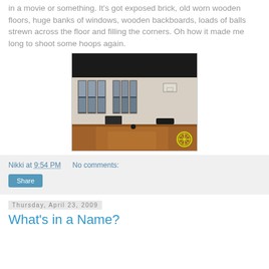in a movie or something. It's got exposed brick, old worn wooden floors, huge banks of windows, wooden backboards, loads of balls strewn across the floor and filling the corners. Oh how it made me long to shoot some hoops again.
[Figure (photo): Interior of an old gymnasium with large windows, worn wooden floors, and a basketball backboard visible. A basketball can be seen on the floor. A watermark icon appears in the bottom right corner.]
Nikki at 9:54 PM    No comments:
Share
Thursday, April 23, 2009
What's in a Name?